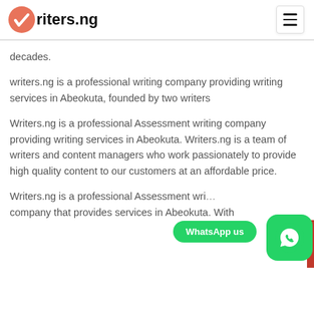writers.ng
decades.
writers.ng is a professional writing company providing writing services in Abeokuta, founded by two writers
Writers.ng is a professional Assessment writing company providing writing services in Abeokuta. Writers.ng is a team of writers and content managers who work passionately to provide high quality content to our customers at an affordable price.
Writers.ng is a professional Assessment writing company that provides services in Abeokuta. With